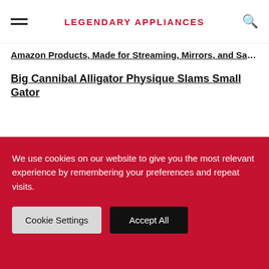LEGENDARY APPLIANCES
Amazon Products, Made for Streaming, Mirrors, and Sales
Big Cannibal Alligator Physique Slams Small Gator
About Rehub
Legendaryappliances.net is a participant in the Amazon Services LLC Associates Program, an affiliate advertising program designed to provide a means for sites to earn
We use cookies on our website to give you the most relevant experience by remembering your preferences and repeat visits.